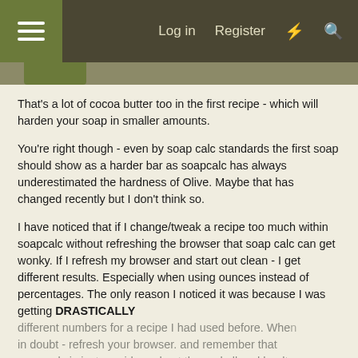≡  Log in  Register  ⚡  🔍
That's a lot of cocoa butter too in the first recipe - which will harden your soap in smaller amounts.
You're right though - even by soap calc standards the first soap should show as a harder bar as soapcalc has always underestimated the hardness of Olive. Maybe that has changed recently but I don't think so.
I have noticed that if I change/tweak a recipe too much within soapcalc without refreshing the browser that soap calc can get wonky. If I refresh my browser and start out clean - I get different results. Especially when using ounces instead of percentages. The only reason I noticed it was because I was getting DRASTICALLY different numbers for a recipe I had used before. When in doubt - refresh your browser. and remember that soap calc is just a guide and not the end all and healt...